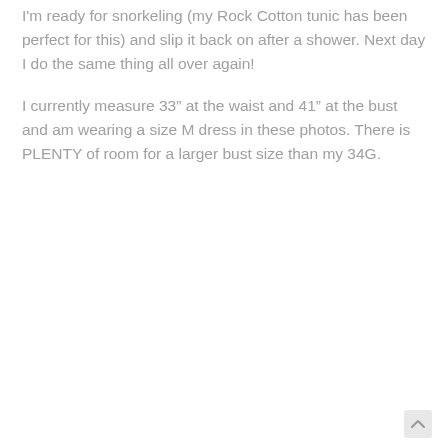I'm ready for snorkeling (my Rock Cotton tunic has been perfect for this) and slip it back on after a shower. Next day I do the same thing all over again!
I currently measure 33” at the waist and 41” at the bust and am wearing a size M dress in these photos. There is PLENTY of room for a larger bust size than my 34G.